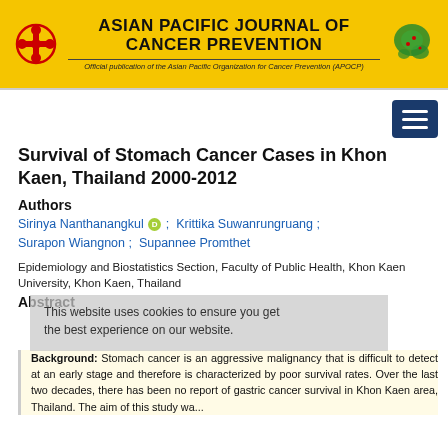[Figure (logo): Asian Pacific Journal of Cancer Prevention journal header banner with logo, title, and map graphic on yellow background]
Survival of Stomach Cancer Cases in Khon Kaen, Thailand 2000-2012
Authors
Sirinya Nanthanangkul [ORCID] ; Krittika Suwanrungruang ; Surapon Wiangnon ; Supannee Promthet
Epidemiology and Biostatistics Section, Faculty of Public Health, Khon Kaen University, Khon Kaen, Thailand
Abstract
This website uses cookies to ensure you get the best experience on our website.
Background: Stomach cancer is an aggressive malignancy that is difficult to detect at an early stage and therefore is characterized by poor survival rates. Over the last two decades, there has been no report of gastric cancer survival in Khon Kaen area, Thailand. The aim of this study was to...